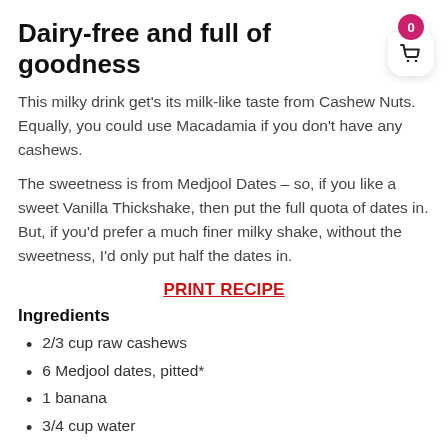Dairy-free and full of goodness
This milky drink get's its milk-like taste from Cashew Nuts. Equally, you could use Macadamia if you don't have any cashews.
The sweetness is from Medjool Dates – so, if you like a sweet Vanilla Thickshake, then put the full quota of dates in. But, if you'd prefer a much finer milky shake, without the sweetness, I'd only put half the dates in.
PRINT RECIPE
Ingredients
2/3 cup raw cashews
6 Medjool dates, pitted*
1 banana
3/4 cup water